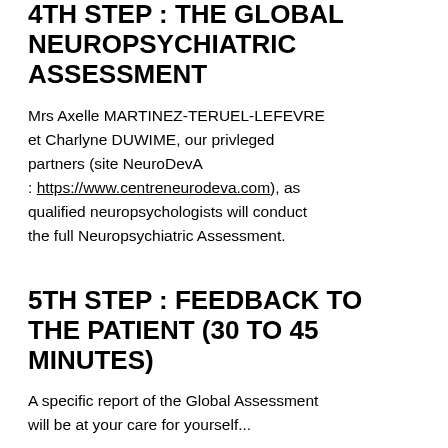4TH STEP : THE GLOBAL NEUROPSYCHIATRIC ASSESSMENT
Mrs Axelle MARTINEZ-TERUEL-LEFEVRE et Charlyne DUWIME, our privleged partners (site NeuroDevA : https://www.centreneurodeva.com), as qualified neuropsychologists will conduct the full Neuropsychiatric Assessment.
5TH STEP : FEEDBACK TO THE PATIENT (30 TO 45 MINUTES)
A specific report of the Global Assessment will be at your care for yourself...